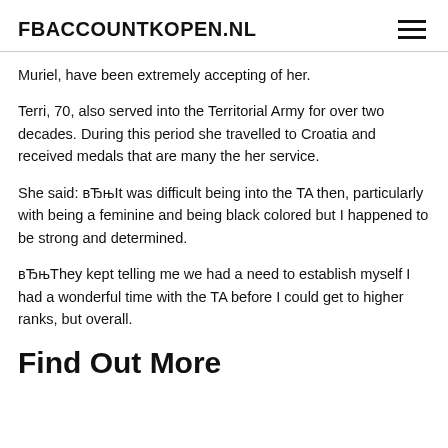FBACCOUNTKOPEN.NL
Muriel, have been extremely accepting of her.
Terri, 70, also served into the Territorial Army for over two decades. During this period she travelled to Croatia and received medals that are many the her service.
She said: вЂњIt was difficult being into the TA then, particularly with being a feminine and being black colored but I happened to be strong and determined.
вЂњThey kept telling me we had a need to establish myself I had a wonderful time with the TA before I could get to higher ranks, but overall.
Find Out More